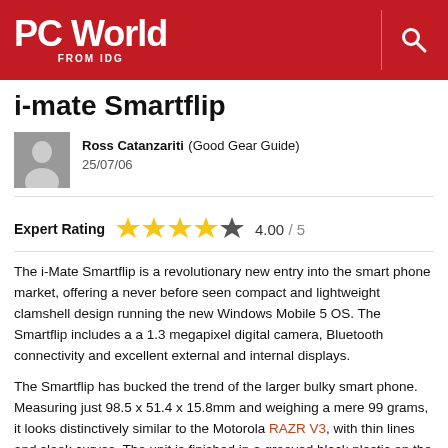PC World FROM IDG
i-mate Smartflip
Ross Catanzariti (Good Gear Guide) 25/07/06
Expert Rating 4.00 / 5
The i-Mate Smartflip is a revolutionary new entry into the smart phone market, offering a never before seen compact and lightweight clamshell design running the new Windows Mobile 5 OS. The Smartflip includes a a 1.3 megapixel digital camera, Bluetooth connectivity and excellent external and internal displays.
The Smartflip has bucked the trend of the larger bulky smart phone. Measuring just 98.5 x 51.4 x 15.8mm and weighing a mere 99 grams, it looks distinctively similar to the Motorola RAZR V3, with thin lines and sleek curves. The unit is finished in a grooved black plastic on the front and battery cover with a plain matt black finish extending